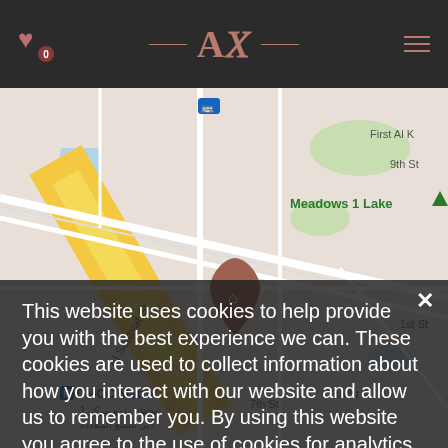AX — website header with logo, heart icon (0), and hamburger menu
[Figure (map): Google Maps screenshot showing Dubai area including DMCC Metro station, Al Sarayat St, Meadows 1 Lake, 9th St, 7th St, 6th St, 1st St, Jumeirah Lake Towers, Meadows 2, The Hamptons, ENOC 1086, Jumeirah Heights, Map data ©2022, Terms of Use. A home-pin marker is visible in the center.]
This website uses cookies to help provide you with the best experience we can. These cookies are used to collect information about how you interact with our website and allow us to remember you. By using this website you agree to the use of cookies for analytics and personalized uses.